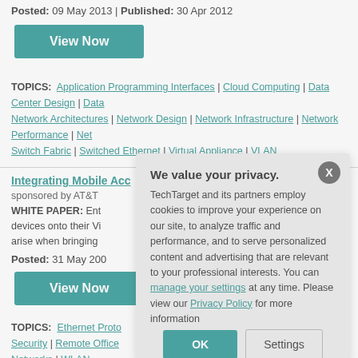Posted: 09 May 2013 | Published: 30 Apr 2012
View Now
TOPICS: Application Programming Interfaces | Cloud Computing | Data Center Design | Data... Network Architectures | Network Design | Network Infrastructure | Network Performance | Net... Switch Fabric | Switched Ethernet | Virtual Appliance | VLAN
Integrating Mobile Acc...
sponsored by AT&T
WHITE PAPER: Ent... devices onto their Vi... arise when bringing...
Posted: 31 May 200...
View Now
TOPICS: Ethernet Proto... Security | Remote Office... Networks | WLAN
We value your privacy. TechTarget and its partners employ cookies to improve your experience on our site, to analyze traffic and performance, and to serve personalized content and advertising that are relevant to your professional interests. You can manage your settings at any time. Please view our Privacy Policy for more information
OK
Settings